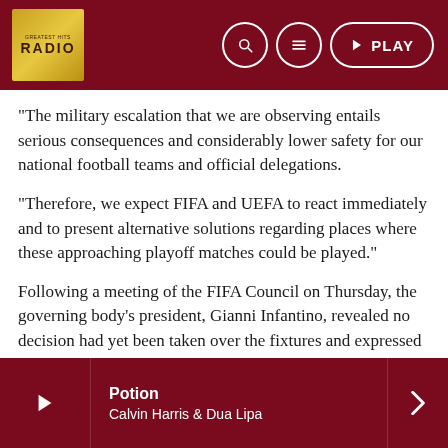RADIO — Header with logo and navigation controls including search, menu, and PLAY button
“The military escalation that we are observing entails serious consequences and considerably lower safety for our national football teams and official delegations.
“Therefore, we expect FIFA and UEFA to react immediately and to present alternative solutions regarding places where these approaching playoff matches could be played.”
Following a meeting of the FIFA Council on Thursday, the governing body’s president, Gianni Infantino, revealed no decision had yet been taken over the fixtures and expressed hope that the conflict could be “solved” by the time they are due to be played.
“The situation that we have all discovered this morning is
Potion — Calvin Harris & Dua Lipa